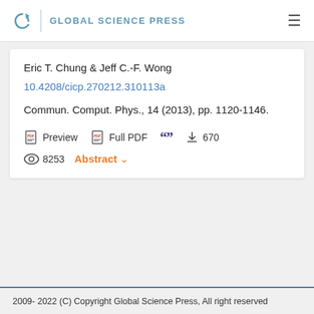GLOBAL SCIENCE PRESS
Eric T. Chung & Jeff C.-F. Wong
10.4208/cicp.270212.310113a
Commun. Comput. Phys., 14 (2013), pp. 1120-1146.
Preview  Full PDF  [quote]  670  8253  Abstract
2009- 2022 (C) Copyright Global Science Press, All right reserved